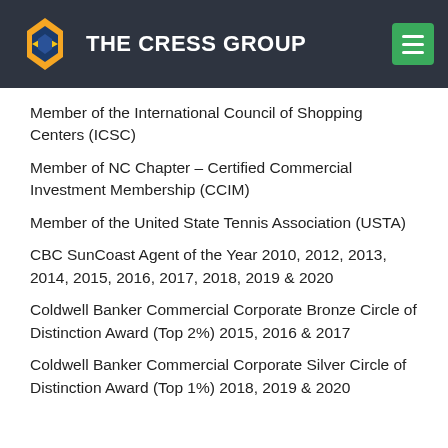The CRESS Group
Member of the International Council of Shopping Centers (ICSC)
Member of NC Chapter – Certified Commercial Investment Membership (CCIM)
Member of the United State Tennis Association (USTA)
CBC SunCoast Agent of the Year 2010, 2012, 2013, 2014, 2015, 2016, 2017, 2018, 2019 & 2020
Coldwell Banker Commercial Corporate Bronze Circle of Distinction Award (Top 2%) 2015, 2016 & 2017
Coldwell Banker Commercial Corporate Silver Circle of Distinction Award (Top 1%) 2018, 2019 & 2020